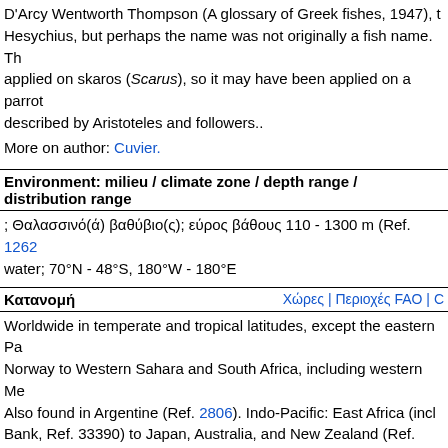D'Arcy Wentworth Thompson (A glossary of Greek fishes, 1947), Hesychius, but perhaps the name was not originally a fish name. The name was applied on skaros (Scarus), so it may have been applied on a parrot described by Aristoteles and followers..
More on author: Cuvier.
Environment: milieu / climate zone / depth range / distribution range
; Θαλασσινό(ά) βαθύβιο(ς); εύρος βάθους 110 - 1300 m (Ref. 12628); water; 70°N - 48°S, 180°W - 180°E
Κατανομή
Worldwide in temperate and tropical latitudes, except the eastern Pa Norway to Western Sahara and South Africa, including western Me Also found in Argentine (Ref. 2806). Indo-Pacific: East Africa (incl Bank, Ref. 33390) to Japan, Australia, and New Zealand (Ref. 5755 Pacific is doubtless the result of limited fishing effort below 200 m
Μέγεθος / Βάρος / Age
Maturity: Lm ?  range ? - ? cm
Max length : 100.0 cm TL αρσενικό/απροσδιόριστο; (Ref. 26340); απροσδιόριστο; (Ref. 9833); μεγ. δημοσιευμένο βάρος: 4.0 kg (Ref
Short description